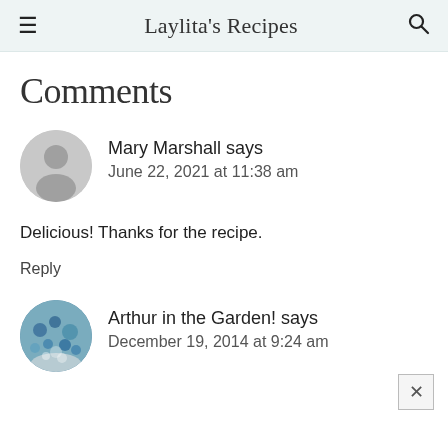Laylita's Recipes
Comments
Mary Marshall says
June 22, 2021 at 11:38 am
Delicious! Thanks for the recipe.
Reply
Arthur in the Garden! says
December 19, 2014 at 9:24 am